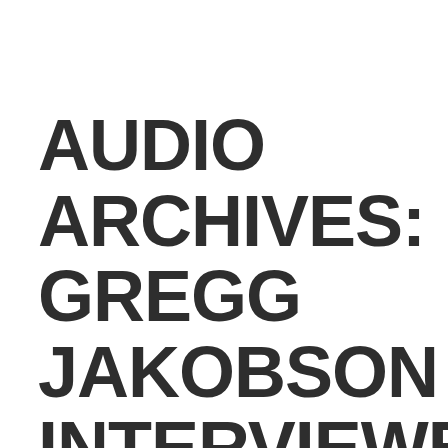AUDIO ARCHIVES: GREGG JAKOBSON INTERVIEWED BY DEPUTY DISTRICT ATTORNEY